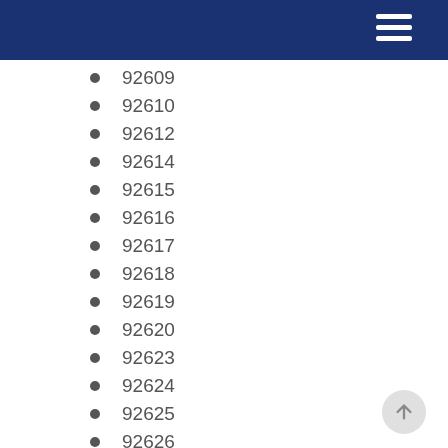92609
92610
92612
92614
92615
92616
92617
92618
92619
92620
92623
92624
92625
92626
92627
92628
92629